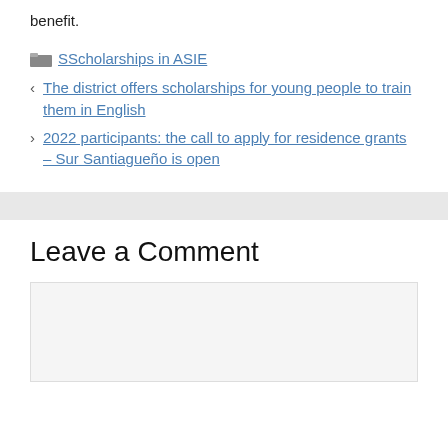benefit.
SScholarships in ASIE
The district offers scholarships for young people to train them in English
2022 participants: the call to apply for residence grants – Sur Santiagueño is open
Leave a Comment